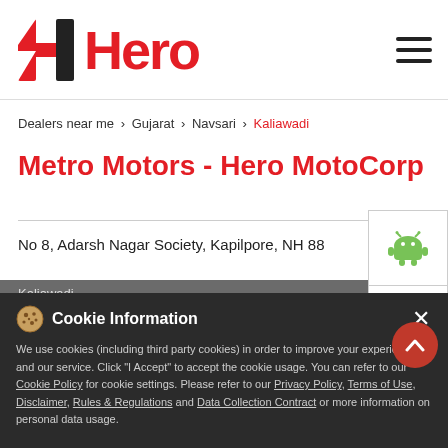[Figure (logo): Hero MotoCorp logo with stylized H icon and red Hero text]
Dealers near me > Gujarat > Navsari > Kaliawadi
Metro Motors - Hero MotoCorp
No 8, Adarsh Nagar Society, Kapilpore, NH 88
Kaliawadi
Navsari - 396427
Ghu Road
Opens at 08:30 AM
Cookie Information
We use cookies (including third party cookies) in order to improve your experience and our service. Click "I Accept" to accept the cookie usage. You can refer to our Cookie Policy for cookie settings. Please refer to our Privacy Policy, Terms of Use, Disclaimer, Rules & Regulations and Data Collection Contract or more information on personal data usage.
Sales   Service
CALL   DIRECTIONS   I ACCEPT